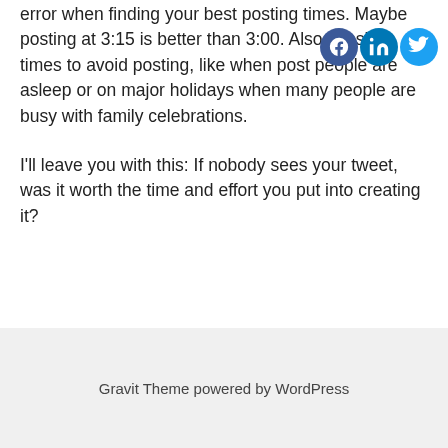error when finding your best posting times. Maybe posting at 3:15 is better than 3:00. Also consider times to avoid posting, like when post people are asleep or on major holidays when many people are busy with family celebrations.
I'll leave you with this: If nobody sees your tweet, was it worth the time and effort you put into creating it?
Gravit Theme powered by WordPress